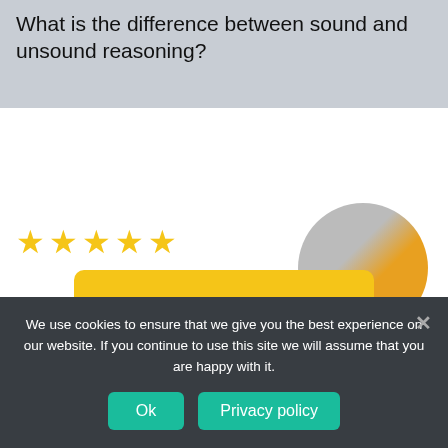What is the difference between sound and unsound reasoning?
[Figure (illustration): Five yellow star rating icons and a circular profile photo of a person in orange/yellow clothing]
[Figure (illustration): Yellow ORDER button]
Professional Homework Help
[Figure (illustration): Peach/beige colored content box section]
We use cookies to ensure that we give you the best experience on our website. If you continue to use this site we will assume that you are happy with it.
Ok
Privacy policy